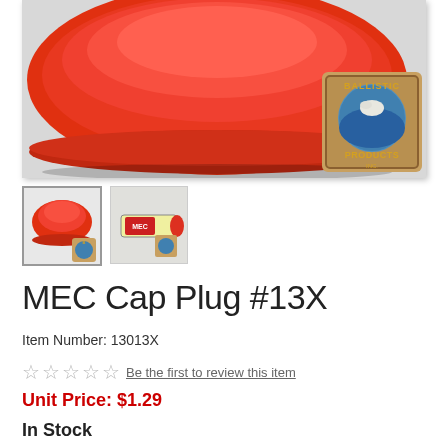[Figure (photo): Large main product image showing a red plastic cap plug (MEC Cap Plug #13X) against a light gray background, with a Ballistic Products Inc. logo inset in the lower right corner of the image.]
[Figure (photo): Thumbnail image 1: red plastic cap plug viewed from above/side, with small Ballistic Products logo overlay in bottom right corner.]
[Figure (photo): Thumbnail image 2: product packaging showing a tube/roll of MEC cap plugs with label.]
MEC Cap Plug #13X
Item Number: 13013X
☆☆☆☆☆ Be the first to review this item
Unit Price: $1.29
In Stock